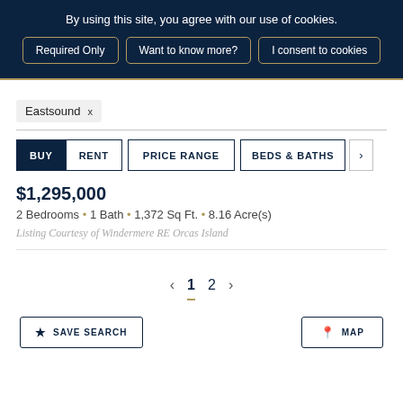By using this site, you agree with our use of cookies.
Required Only | Want to know more? | I consent to cookies
Eastsound ×
BUY  RENT  PRICE RANGE  BEDS & BATHS  >
$1,295,000
2 Bedrooms • 1 Bath • 1,372 Sq Ft. • 8.16 Acre(s)
Listing Courtesy of Windermere RE Orcas Island
< 1 2 >
☆ SAVE SEARCH    📍 MAP